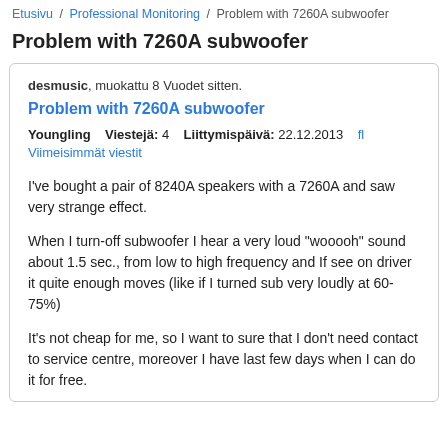Etusivu / Professional Monitoring / Problem with 7260A subwoofer
Problem with 7260A subwoofer
desmusic, muokattu 8 Vuodet sitten.
Problem with 7260A subwoofer
Youngling    Viestejä: 4    Liittymispäivä: 22.12.2013    fl
Viimeisimmät viestit
I've bought a pair of 8240A speakers with a 7260A and saw very strange effect.
When I turn-off subwoofer I hear a very loud "wooooh" sound about 1.5 sec., from low to high frequency and If see on driver it quite enough moves (like if I turned sub very loudly at 60-75%)
It's not cheap for me, so I want to sure that I don't need contact to service centre, moreover I have last few days when I can do it for free.